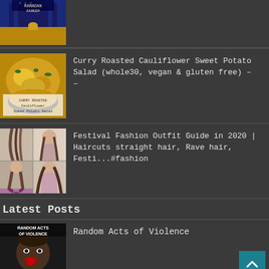[Figure (photo): Partial view of a mosque/Ramadan-themed image at top of page, partially cropped]
Curry Roasted Cauliflower Sweet Potato Salad (whole30, vegan & gluten free) – –
[Figure (photo): Photo of curry roasted cauliflower sweet potato salad in a bowl]
Festival Fashion Outfit Guide in 2020 | Haircuts straight hair, Rave hair, Festi...#fashion
[Figure (photo): Collage of women with braided festival hairstyles]
Latest Posts
Random Acts of Violence
[Figure (photo): Movie poster for Random Acts of Violence showing a bloodied man's face]